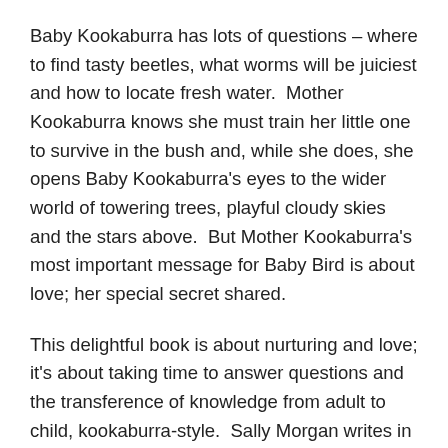Baby Kookaburra has lots of questions – where to find tasty beetles, what worms will be juiciest and how to locate fresh water.  Mother Kookaburra knows she must train her little one to survive in the bush and, while she does, she opens Baby Kookaburra's eyes to the wider world of towering trees, playful cloudy skies and the stars above.  But Mother Kookaburra's most important message for Baby Bird is about love; her special secret shared.
This delightful book is about nurturing and love; it's about taking time to answer questions and the transference of knowledge from adult to child, kookaburra-style.  Sally Morgan writes in an accessible direct style as she takes us through the new life-skills Baby Bird must learn.  Her use of rhythmic repetitive sounds makes it great fun to read out-loud and gives the book a lovely interactive quality.  And the illustrations by Ambelin Kwaymullina are absolutely captivating; the vibrant